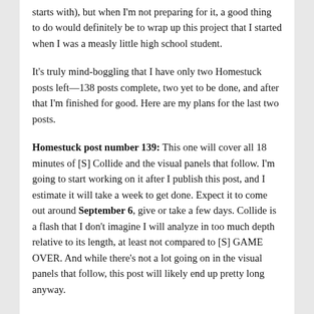starts with), but when I'm not preparing for it, a good thing to do would definitely be to wrap up this project that I started when I was a measly little high school student.
It's truly mind-boggling that I have only two Homestuck posts left—138 posts complete, two yet to be done, and after that I'm finished for good. Here are my plans for the last two posts.
Homestuck post number 139: This one will cover all 18 minutes of [S] Collide and the visual panels that follow. I'm going to start working on it after I publish this post, and I estimate it will take a week to get done. Expect it to come out around September 6, give or take a few days. Collide is a flash that I don't imagine I will analyze in too much depth relative to its length, at least not compared to [S] GAME OVER. And while there's not a lot going on in the visual panels that follow, this post will likely end up pretty long anyway.
Homestuck post number 140: This one will cover all [...]